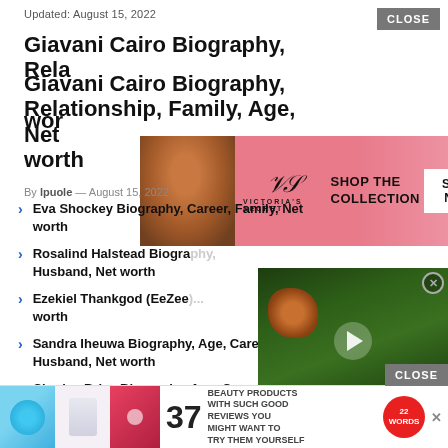Updated: August 15, 2022
Giavani Cairo Biography, Relationship, Family, Age, Net worth
[Figure (advertisement): Victoria's Secret banner ad with model photo, SHOP THE COLLECTION, SHOP NOW button]
By lpuole — August 15, 2022
Eva Shockey Biography, Career, Family, Net worth
Rosalind Halstead Biography, Husband, Net worth
Ezekiel Thankgod (EeZee) ... worth
[Figure (screenshot): Embedded video player showing a red panda animal in green bamboo, with play button and close button]
Sandra Iheuwa Biography, Age, Career, Husband, Net worth
Charles Brice Biography, Age, Career, ...
Na...
[Figure (advertisement): Bottom banner ad: 37 beauty products with good reviews, 22 Words badge, close button overlay]